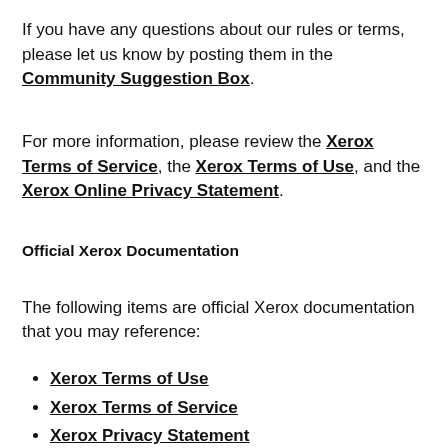If you have any questions about our rules or terms, please let us know by posting them in the Community Suggestion Box.
For more information, please review the Xerox Terms of Service, the Xerox Terms of Use, and the Xerox Online Privacy Statement.
Official Xerox Documentation
The following items are official Xerox documentation that you may reference:
Xerox Terms of Use
Xerox Terms of Service
Xerox Privacy Statement